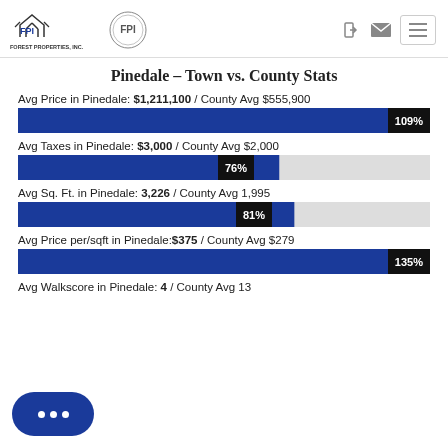Forest Properties, Inc. — FPI logo header with navigation icons
Pinedale – Town vs. County Stats
Avg Price in Pinedale: $1,211,100 / County Avg $555,900
[Figure (bar-chart): Avg Price]
Avg Taxes in Pinedale: $3,000 / County Avg $2,000
[Figure (bar-chart): Avg Taxes]
Avg Sq. Ft. in Pinedale: 3,226 / County Avg 1,995
[Figure (bar-chart): Avg Sq. Ft.]
Avg Price per/sqft in Pinedale: $375 / County Avg $279
[Figure (bar-chart): Avg Price per/sqft]
Avg Walkscore in Pinedale: 4 / County Avg 13